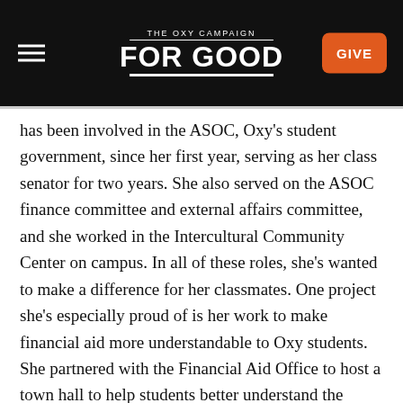THE OXY CAMPAIGN FOR GOOD
has been involved in the ASOC, Oxy's student government, since her first year, serving as her class senator for two years. She also served on the ASOC finance committee and external affairs committee, and she worked in the Intercultural Community Center on campus. In all of these roles, she's wanted to make a difference for her classmates. One project she's especially proud of is her work to make financial aid more understandable to Oxy students. She partnered with the Financial Aid Office to host a town hall to help students better understand the financial aid process and have their questions